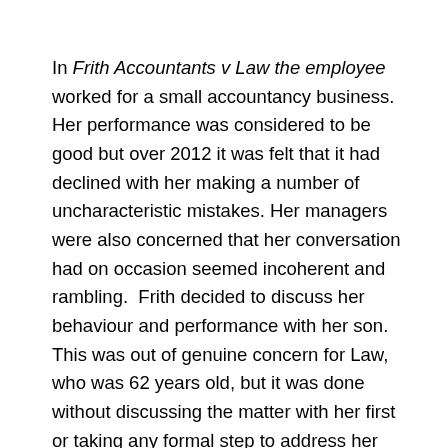In Frith Accountants v Law the employee worked for a small accountancy business. Her performance was considered to be good but over 2012 it was felt that it had declined with her making a number of uncharacteristic mistakes. Her managers were also concerned that her conversation had on occasion seemed incoherent and rambling.  Frith decided to discuss her behaviour and performance with her son. This was out of genuine concern for Law, who was 62 years old, but it was done without discussing the matter with her first or taking any formal step to address her performance issues directly. When Law found out about the conversation with her son, she was horrified and resigned, claiming unfair constructive dismissal. An employment tribunal upheld her claim, finding that the conversation had been a clear breach of the implied contractual term of mutual trust and